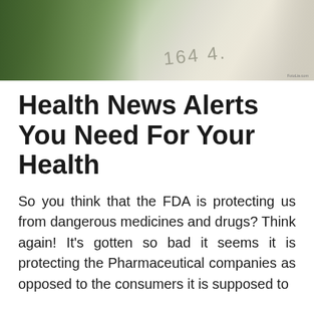[Figure (photo): Close-up photograph of a prescription medicine label or pill bottle with partial numbers visible, with a green label partially visible at top]
Health News Alerts You Need For Your Health
So you think that the FDA is protecting us from dangerous medicines and drugs? Think again! It’s gotten so bad it seems it is protecting the Pharmaceutical companies as opposed to the consumers it is supposed to